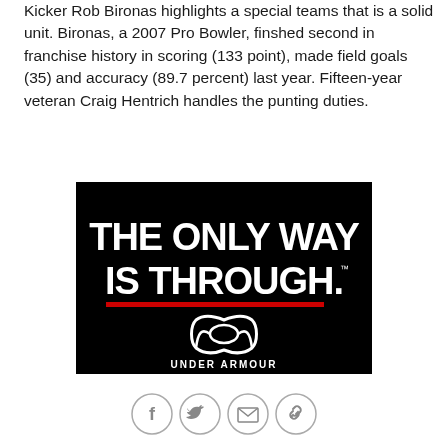Kicker Rob Bironas highlights a special teams that is a solid unit. Bironas, a 2007 Pro Bowler, finshed second in franchise history in scoring (133 point), made field goals (35) and accuracy (89.7 percent) last year. Fifteen-year veteran Craig Hentrich handles the punting duties.
[Figure (logo): Under Armour advertisement on black background with large white bold text reading 'THE ONLY WAY IS THROUGH.' with a red underline beneath the period, and the Under Armour logo and wordmark below.]
[Figure (infographic): Social sharing icons row: Facebook (f), Twitter (bird), Email (envelope), and Link/chain icons, each in a light gray circle outline.]